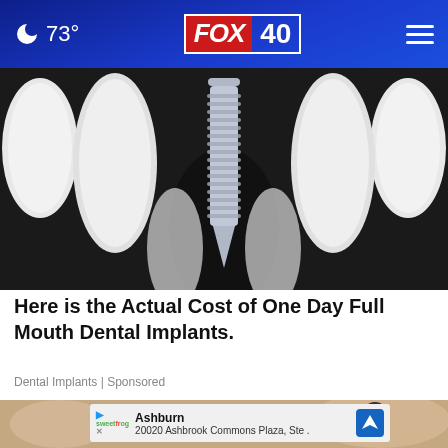🌙 73° | FOX 40
[Figure (photo): Close-up illustration of a dental implant (metal screw) positioned between two white teeth on a dark background]
Here is the Actual Cost of One Day Full Mouth Dental Implants.
Dental Implants | Sponsored
[Figure (photo): Close-up photo of fingers on a wooden surface with an advertisement overlay for Ashburn - 20020 Ashbrook Commons Plaza, Ste.]